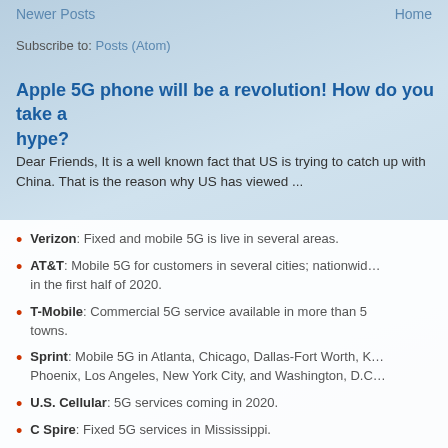Newer Posts   Home
Subscribe to: Posts (Atom)
Apple 5G phone will be a revolution! How do you take a hype?
Dear Friends, It is a well known fact that US is trying to catch up with China. That is the reason why US has viewed ...
Verizon: Fixed and mobile 5G is live in several areas.
AT&T: Mobile 5G for customers in several cities; nationwide in the first half of 2020.
T-Mobile: Commercial 5G service available in more than 5 towns.
Sprint: Mobile 5G in Atlanta, Chicago, Dallas-Fort Worth, Phoenix, Los Angeles, New York City, and Washington, D.C.
U.S. Cellular: 5G services coming in 2020.
C Spire: Fixed 5G services in Mississippi.